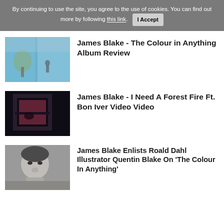By continuing to use the site, you agree to the use of cookies. You can find out more by following this link. I Accept
James Blake - The Colour in Anything Album Review
James Blake - I Need A Forest Fire Ft. Bon Iver Video Video
James Blake Enlists Roald Dahl Illustrator Quentin Blake On 'The Colour In Anything'